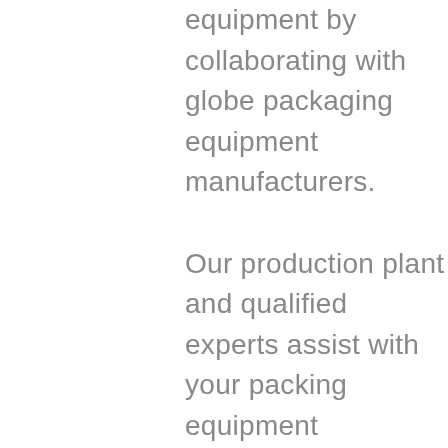equipment by collaborating with globe packaging equipment manufacturers.

Our production plant and qualified experts assist with your packing equipment throughout their lifespan. Allow our packaging equipment